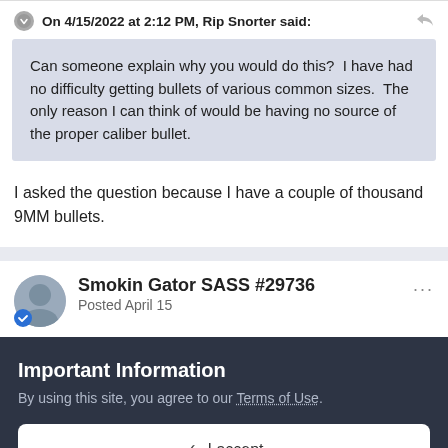On 4/15/2022 at 2:12 PM, Rip Snorter said:
Can someone explain why you would do this? I have had no difficulty getting bullets of various common sizes. The only reason I can think of would be having no source of the proper caliber bullet.
I asked the question because I have a couple of thousand 9MM bullets.
Smokin Gator SASS #29736
Posted April 15
Important Information
By using this site, you agree to our Terms of Use.
✓ I accept